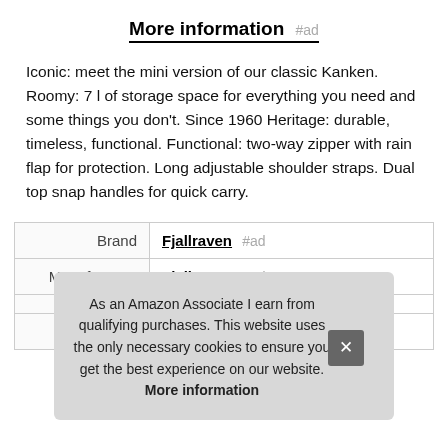More information #ad
Iconic: meet the mini version of our classic Kanken. Roomy: 7 l of storage space for everything you need and some things you don't. Since 1960 Heritage: durable, timeless, functional. Functional: two-way zipper with rain flap for protection. Long adjustable shoulder straps. Dual top snap handles for quick carry.
| Brand | Fjallraven #ad |
| Manufacturer | Fjallraven #ad |
| Width | 11.81 Inches |
As an Amazon Associate I earn from qualifying purchases. This website uses the only necessary cookies to ensure you get the best experience on our website. More information